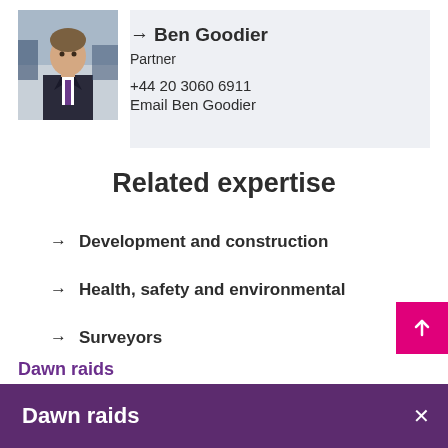[Figure (photo): Headshot photo of Ben Goodier, a man in a dark suit and tie, outdoors background]
→ Ben Goodier
Partner
+44 20 3060 6911
Email Ben Goodier
Related expertise
→ Development and construction
→ Health, safety and environmental
→ Surveyors
Dawn raids
Dawn raids